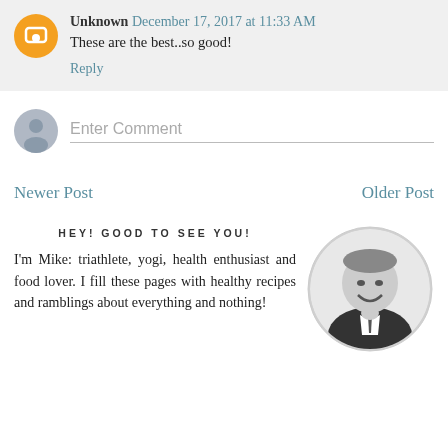Unknown December 17, 2017 at 11:33 AM
These are the best..so good!
Reply
Enter Comment
Newer Post
Older Post
HEY! GOOD TO SEE YOU!
I'm Mike: triathlete, yogi, health enthusiast and food lover. I fill these pages with healthy recipes and ramblings about everything and nothing!
[Figure (photo): Circular black and white photo of a smiling man in a suit]